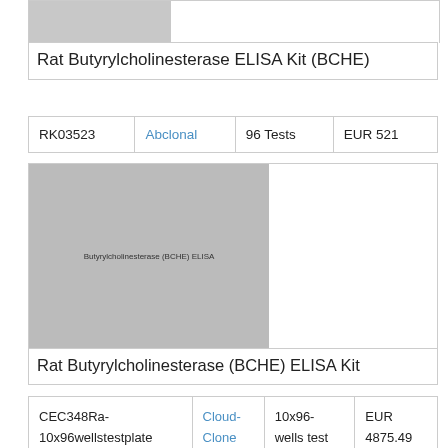[Figure (photo): Gray placeholder image for first product]
Rat Butyrylcholinesterase ELISA Kit (BCHE)
|  |  |  |  |
| --- | --- | --- | --- |
| RK03523 | Abclonal | 96 Tests | EUR 521 |
[Figure (photo): Gray placeholder image with text 'Butyrylcholinesterase (BCHE) ELISA' for second product]
Rat Butyrylcholinesterase (BCHE) ELISA Kit
|  |  |  |  |
| --- | --- | --- | --- |
| CEC348Ra-10x96wellstestplate | Cloud-Clone | 10x96-wells test plate | EUR 4875.49 |
Description: This is Competitive Enzyme-linked immunosorbent assay for detection of Rat Butyrylcholinesterase (BCHE) in